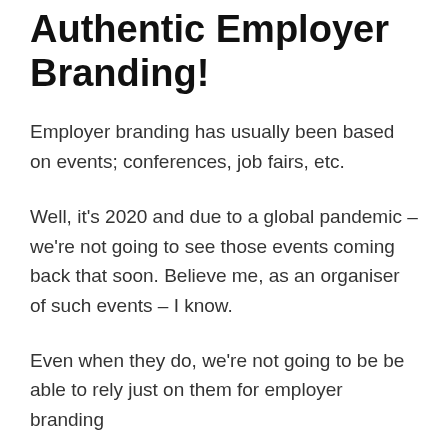Authentic Employer Branding!
Employer branding has usually been based on events; conferences, job fairs, etc.
Well, it's 2020 and due to a global pandemic – we're not going to see those events coming back that soon. Believe me, as an organiser of such events – I know.
Even when they do, we're not going to be be able to rely just on them for employer branding